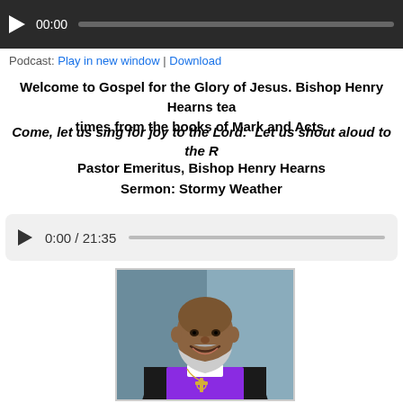[Figure (screenshot): Audio player bar (dark background) with play button, 00:00 timestamp, and progress bar]
Podcast: Play in new window | Download
Welcome to Gospel for the Glory of Jesus. Bishop Henry Hearns teaches at times from the books of Mark and Acts.
Come, let us sing for joy to the Lord: Let us shout aloud to the R...
Pastor Emeritus, Bishop Henry Hearns
Sermon: Stormy Weather
[Figure (screenshot): Audio player with play button, time 0:00 / 21:35, and progress bar on light gray background]
[Figure (photo): Portrait photo of an elderly African American bishop with a white beard, wearing bishop vestments with a purple shirt and large cross pendant, smiling, against a blue-gray background]